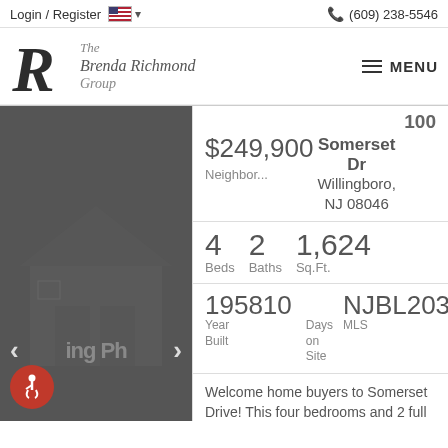Login / Register  🇺🇸  (609) 238-5546
[Figure (logo): The Brenda Richmond Group logo with stylized R and italic text]
MENU
[Figure (photo): Dark grey house silhouette/exterior photo with navigation arrows and loading placeholder text]
100 Somerset Dr Willingboro, NJ 08046
$249,900
Neighbor...
4 Beds  2 Baths  1,624 Sq.Ft.
195810 Year Built  Days on Site  NJBL203 MLS
Welcome home buyers to Somerset Drive! This four bedrooms and 2 full